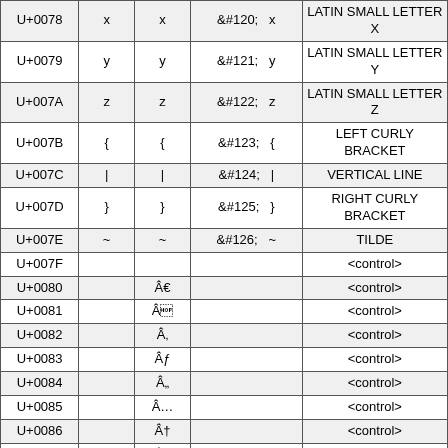| Code | Char | Char | HTML Entity | Name |
| --- | --- | --- | --- | --- |
| U+0078 | x | x | &#120;   x | LATIN SMALL LETTER X |
| U+0079 | y | y | &#121;   y | LATIN SMALL LETTER Y |
| U+007A | z | z | &#122;   z | LATIN SMALL LETTER Z |
| U+007B | { | { | &#123;   { | LEFT CURLY BRACKET |
| U+007C | | | | | &#124;   | | VERTICAL LINE |
| U+007D | } | } | &#125;   } | RIGHT CURLY BRACKET |
| U+007E | ~ | ~ | &#126;   ~ | TILDE |
| U+007F |  |  |  | <control> |
| U+0080 |  | Â |  | <control> |
| U+0081 |  | Â |  | <control> |
| U+0082 |  | Â |  | <control> |
| U+0083 |  | Â |  | <control> |
| U+0084 |  | Â |  | <control> |
| U+0085 |  | Â |  | <control> |
| U+0086 |  | Â |  | <control> |
| U+0087 |  | Â |  | <control> |
| U+0088 |  | Â |  | <control> |
| U+0089 |  | Â |  | <control> |